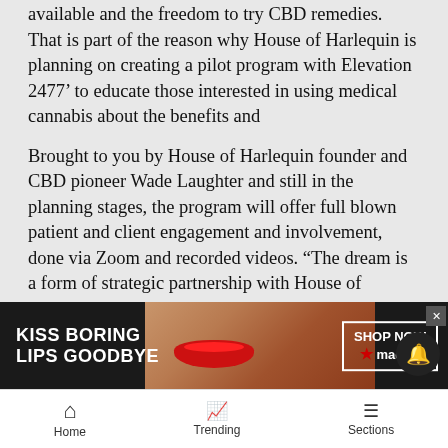available and the freedom to try CBD remedies. That is part of the reason why House of Harlequin is planning on creating a pilot program with Elevation 2477’ to educate those interested in using medical cannabis about the benefits and
Brought to you by House of Harlequin founder and CBD pioneer Wade Laughter and still in the planning stages, the program will offer full blown patient and client engagement and involvement, done via Zoom and recorded videos. “The dream is a form of strategic partnership with House of Harlequin and Elevation 2477’ where we are going to create a fully engaged education model that can be replicated around the country and world,” explained Monica Senter… wife of Laughter. “Right there a… ors, but…
[Figure (infographic): Macy's advertisement banner: 'KISS BORING LIPS GOODBYE' with 'SHOP NOW' button and Macy's star logo, overlaid on image of woman with red lips]
Home   Trending   Sections